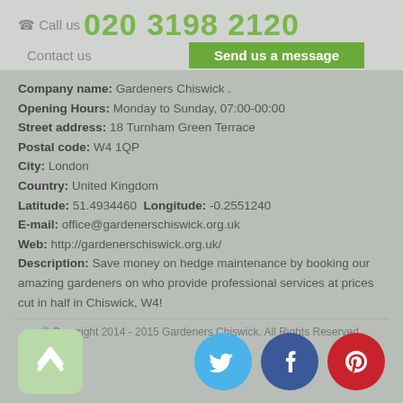☎ Call us 020 3198 2120
Contact us  |  Send us a message
Company name: Gardeners Chiswick . Opening Hours: Monday to Sunday, 07:00-00:00 Street address: 18 Turnham Green Terrace Postal code: W4 1QP City: London Country: United Kingdom Latitude: 51.4934460 Longitude: -0.2551240 E-mail: office@gardenerschiswick.org.uk Web: http://gardenerschiswick.org.uk/ Description: Save money on hedge maintenance by booking our amazing gardeners on who provide professional services at prices cut in half in Chiswick, W4!
© Copyright 2014 - 2015 Gardeners Chiswick. All Rights Reserved.
[Figure (infographic): Up arrow button (green rounded square) and three social media icons: Twitter (blue circle), Facebook (dark blue circle), Pinterest (red circle)]